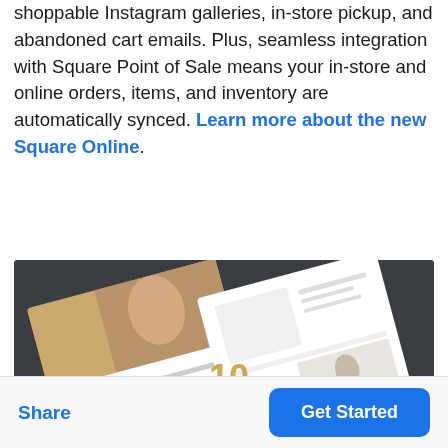shoppable Instagram galleries, in-store pickup, and abandoned cart emails. Plus, seamless integration with Square Point of Sale means your in-store and online orders, items, and inventory are automatically synced. Learn more about the new Square Online.
[Figure (screenshot): Screenshot of Square Online ecommerce website mockup shown on angled device screens, displaying a jewelry/fashion store with a woman model, earrings products, and another woman model, set against a dark gray background.]
Share
Get Started